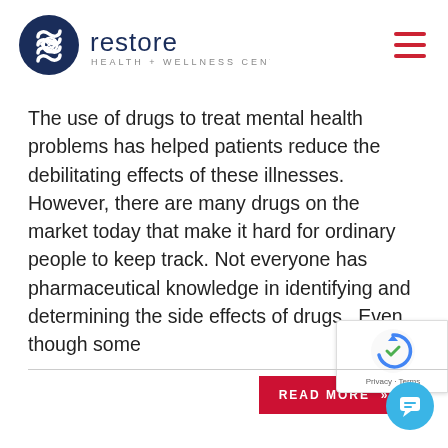[Figure (logo): Restore Health + Wellness Center logo with circular icon and text]
The use of drugs to treat mental health problems has helped patients reduce the debilitating effects of these illnesses. However, there are many drugs on the market today that make it hard for ordinary people to keep track. Not everyone has pharmaceutical knowledge in identifying and determining the side effects of drugs.  Even though some
READ MORE ≫